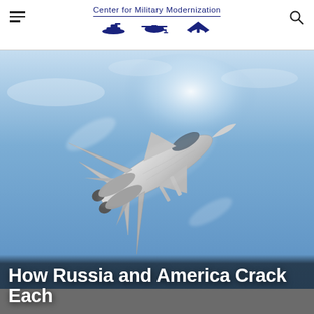Center for Military Modernization
[Figure (photo): A fighter jet (F-14 or similar) photographed from below against a blue sky, banking steeply with wings swept back. The aircraft is gray/silver with two engines visible.]
How Russia and America Crack Each